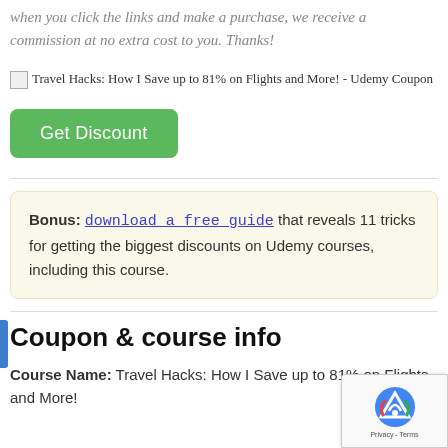when you click the links and make a purchase, we receive a commission at no extra cost to you. Thanks!
[Figure (other): Broken image placeholder with alt text: Travel Hacks: How I Save up to 81% on Flights and More! - Udemy Coupon]
Get Discount
Bonus: download a free guide that reveals 11 tricks for getting the biggest discounts on Udemy courses, including this course.
Coupon & course info
Course Name: Travel Hacks: How I Save up to 81% on Flights and More!